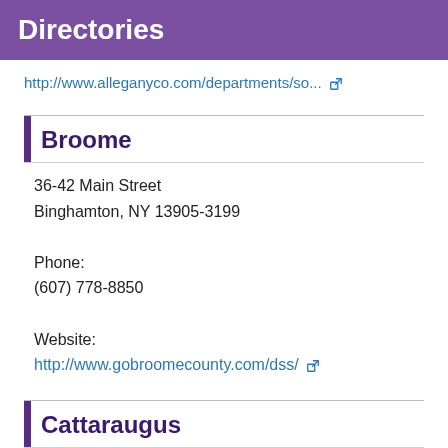Directories
http://www.alleganyco.com/departments/so...
Broome
36-42 Main Street
Binghamton, NY 13905-3199

Phone:
(607) 778-8850

Website:
http://www.gobroomecounty.com/dss/
Cattaraugus
One Leo Moss Drive, Suite 6010